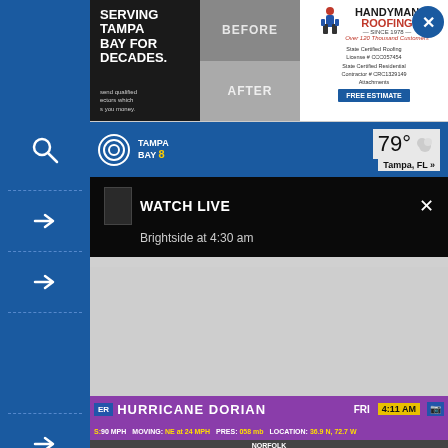[Figure (screenshot): Navigation sidebar with blue background, search icon, arrows, and dashed separator lines]
[Figure (screenshot): Handyman Roofing advertisement banner showing before/after roofing images, logo, certifications, and FREE ESTIMATE button]
[Figure (screenshot): Tampa Bay 8 news website header with logo, temperature 79° and Tampa, FL location]
WATCH LIVE
Brightside at 4:30 am
[Figure (screenshot): Hurricane Dorian breaking news ticker at bottom: WIND: 90 MPH, MOVING: NE at 24 MPH, PRES: 958 mb, LOCATION: 36.9 N, 72.7 W, FRI 4:11 AM, NORFOLK]